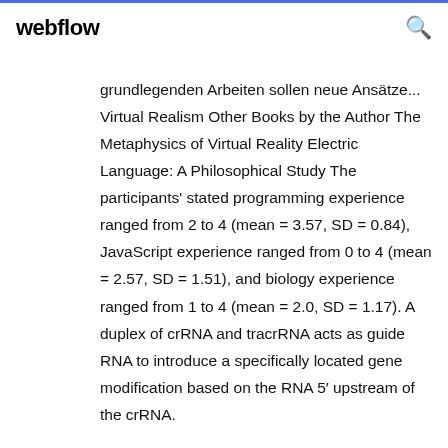webflow
grundlegenden Arbeiten sollen neue Ansätze... Virtual Realism Other Books by the Author The Metaphysics of Virtual Reality Electric Language: A Philosophical Study The participants' stated programming experience ranged from 2 to 4 (mean = 3.57, SD = 0.84), JavaScript experience ranged from 0 to 4 (mean = 2.57, SD = 1.51), and biology experience ranged from 1 to 4 (mean = 2.0, SD = 1.17). A duplex of crRNA and tracrRNA acts as guide RNA to introduce a specifically located gene modification based on the RNA 5′ upstream of the crRNA.